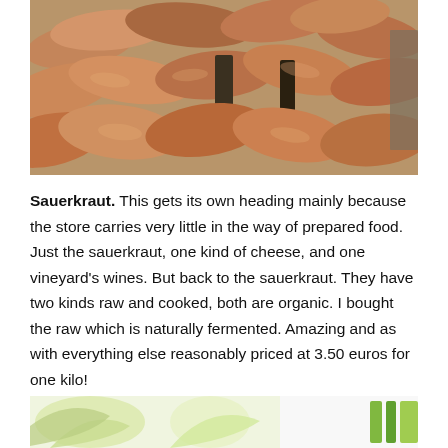[Figure (photo): Box of sweet potatoes/yams piled in a cardboard box, photographed from above]
Sauerkraut. This gets its own heading mainly because the store carries very little in the way of prepared food. Just the sauerkraut, one kind of cheese, and one vineyard's wines. But back to the sauerkraut. They have two kinds raw and cooked, both are organic. I bought the raw which is naturally fermented. Amazing and as with everything else reasonably priced at 3.50 euros for one kilo!
[Figure (photo): Partial view of product packaging with green and white design elements]